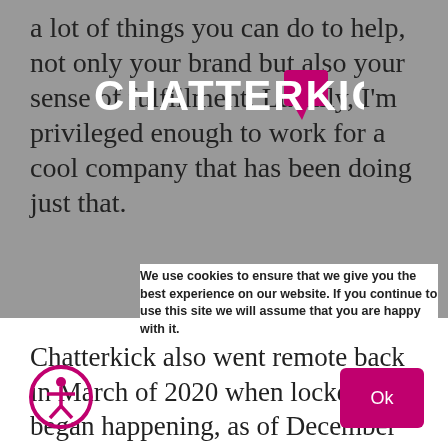a lot of things you can do to help, not only your brand but also your sense of fulfillment. Luckily, I'm privileged enough to work for a cool company that has been doing just that.
[Figure (logo): Chatterkick logo in white text with pink speech bubble icon on gray background]
Chatterkick also went remote back in March of 2020 when lockdowns began happening, as of December 2020 we still are. Many of my co-workers have been working hard to provide resources to help brands tackle the
We use cookies to ensure that we give you the best experience on our website. If you continue to use this site we will assume that you are happy with it.
[Figure (illustration): Accessibility icon: person in circle, pink outline]
Ok